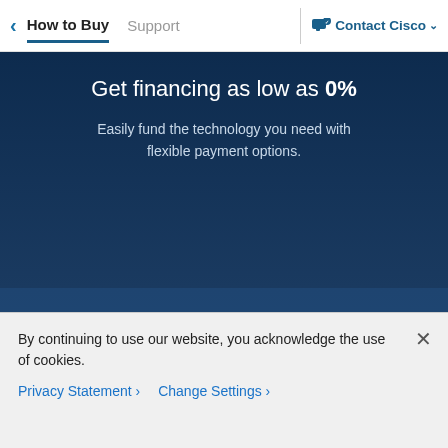< How to Buy   Support   Contact Cisco ˅
Get financing as low as 0%
Easily fund the technology you need with flexible payment options.
Find a partner
Buy with a local certified partner as obsessed
By continuing to use our website, you acknowledge the use of cookies.
Privacy Statement >   Change Settings >